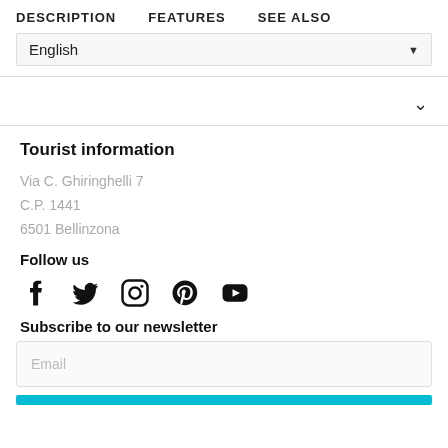DESCRIPTION   FEATURES   SEE ALSO
English
Tourist information
Via C. Ghiringhelli 7
C.P. 1441
6501 Bellinzona
Follow us
[Figure (other): Social media icons: Facebook, Twitter, Instagram, Pinterest, YouTube]
Subscribe to our newsletter
Email